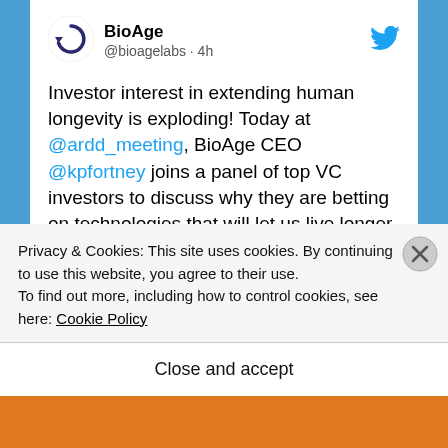[Figure (screenshot): BioAge Twitter/X account avatar — circular arrow icon in dark purple/navy on white background]
BioAge
@bioagelabs · 4h
[Figure (logo): Twitter bird logo in blue]
Investor interest in extending human longevity is exploding! Today at @ardd_meeting, BioAge CEO @kpfortney joins a panel of top VC investors to discuss why they are betting on technologies that will let us live longer and better lives.
scienmag.com/investing-in-l…
#ARD2022
VC Panel: Investing in Longevity Biotechnology
Privacy & Cookies: This site uses cookies. By continuing to use this website, you agree to their use.
To find out more, including how to control cookies, see here: Cookie Policy
Close and accept